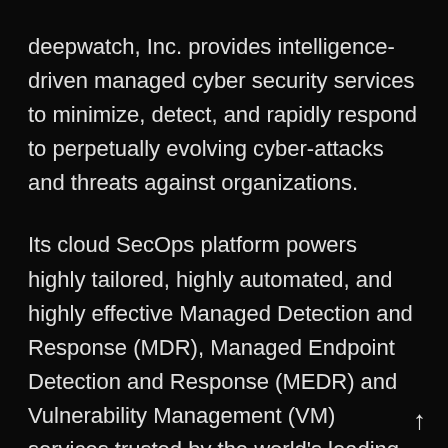deepwatch, Inc. provides intelligence-driven managed cyber security services to minimize, detect, and rapidly respond to perpetually evolving cyber-attacks and threats against organizations.
Its cloud SecOps platform powers highly tailored, highly automated, and highly effective Managed Detection and Response (MDR), Managed Endpoint Detection and Response (MEDR) and Vulnerability Management (VM) services trusted by the world's leading enterprises. deepwatch's team of cyber security experts relentlessly work with company's internal teams to